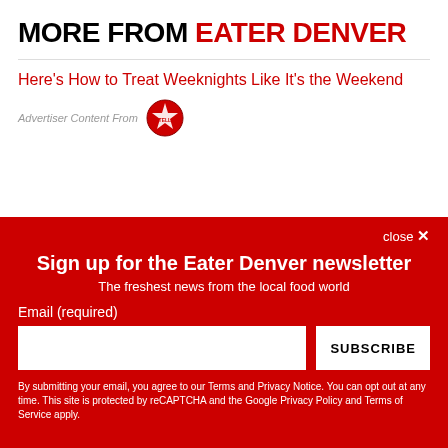MORE FROM EATER DENVER
Here's How to Treat Weeknights Like It's the Weekend
Advertiser Content From [Stella Artois logo]
close ×
Sign up for the Eater Denver newsletter
The freshest news from the local food world
Email (required)
SUBSCRIBE
By submitting your email, you agree to our Terms and Privacy Notice. You can opt out at any time. This site is protected by reCAPTCHA and the Google Privacy Policy and Terms of Service apply.